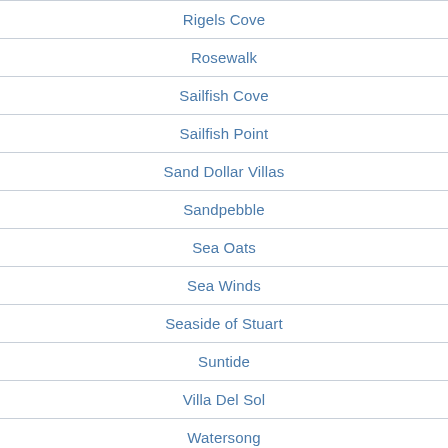Rigels Cove
Rosewalk
Sailfish Cove
Sailfish Point
Sand Dollar Villas
Sandpebble
Sea Oats
Sea Winds
Seaside of Stuart
Suntide
Villa Del Sol
Watersong